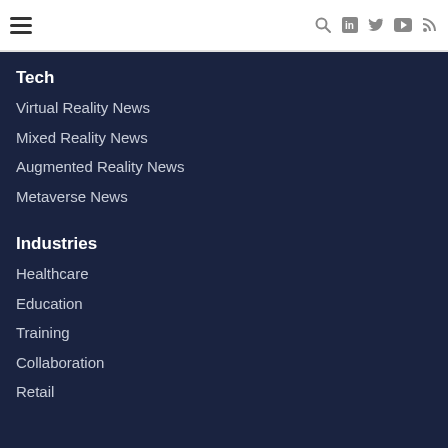Navigation menu header with hamburger icon, search icon, LinkedIn, Twitter, YouTube, RSS icons
Tech
Virtual Reality News
Mixed Reality News
Augmented Reality News
Metaverse News
Industries
Healthcare
Education
Training
Collaboration
Retail